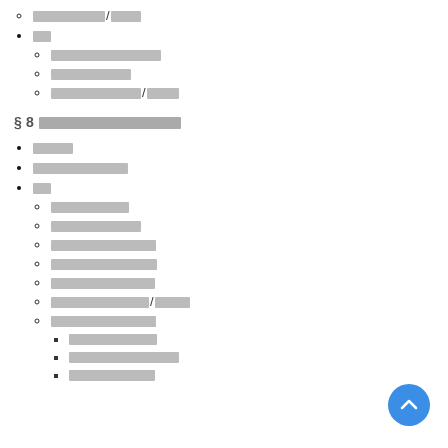[redacted]/[redacted]
[redacted]
[redacted]
[redacted]
[redacted]/[redacted]
§ 8 [redacted]
[redacted]
[redacted]
[redacted]
[redacted]
[redacted]
[redacted]
[redacted]
[redacted]
[redacted]/[redacted]
[redacted]
[redacted]
[redacted]